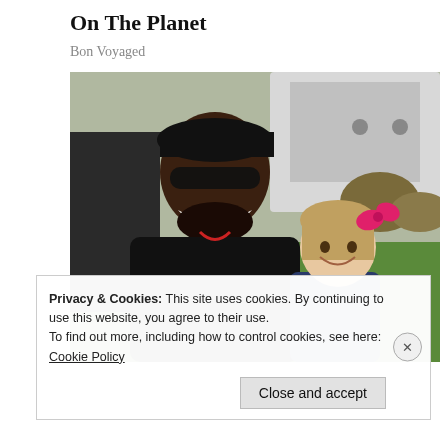On The Planet
Bon Voyaged
[Figure (photo): A smiling man wearing a black cap and sunglasses posing with a young girl who has a pink bow in her hair, outdoors near a vehicle with green grass and trees in the background.]
Privacy & Cookies: This site uses cookies. By continuing to use this website, you agree to their use.
To find out more, including how to control cookies, see here: Cookie Policy
Close and accept